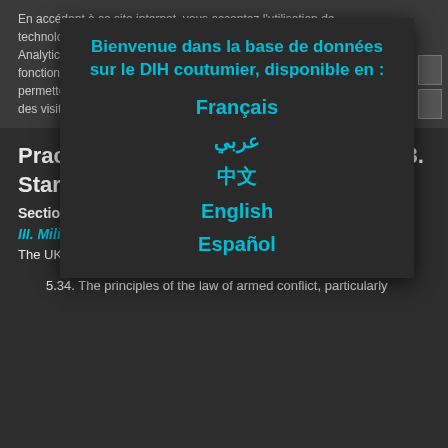En accédant à ce site internet, vous acceptez l'utilisation de technologies telles que les cookies et autres technologies similaires (« Analytics ») pour personaliser les contenus, les publicités et les fonctionnalités des réseaux sociaux. Les données récoltées nous permettent d'analyser le trafic sur le site et de connaître les préférences des visiteurs afin d'améliorer nos services.
Bienvenue dans la base de données sur le DIH coutumier, disponible en :
Français
عربي
中文
English
Español
Practice Relating to Rule 53. Starvation as a Method of Warfare
Section B. Sieges that cause starvation
III. Military Manuals
The UK LOAC Manual (2004) states:
5.34. The principles of the law of armed conflict, particularly